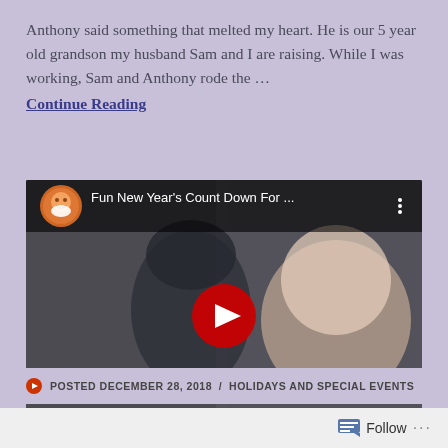Anthony said something that melted my heart. He is our 5 year old grandson my husband Sam and I are raising. While I was working, Sam and Anthony rode the … Continue Reading
[Figure (screenshot): YouTube video thumbnail showing a boy in a beanie hat next to a puppet/mascot character, with YouTube play button overlay. Video title: Fun New Year's Count Down For ...]
POSTED DECEMBER 28, 2018 / HOLIDAYS AND SPECIAL EVENTS